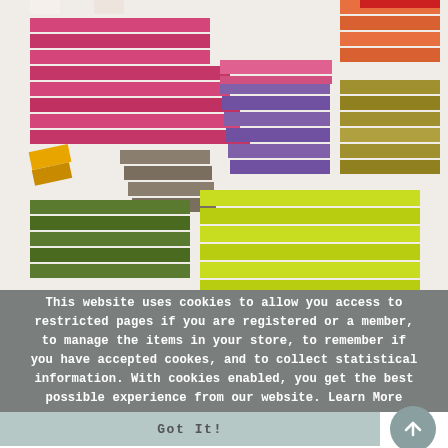[Figure (photo): Colorful stacked rectangular soap or clay blocks in various colors including pink, purple, yellow, green, lime green, orange, red, and taupe arranged in rows on a light background.]
This website uses cookies to allow you access to restricted pages if you are registered or a member, to manage the items in your store, to remember if you have accepted cookes, and to collect statistical information. With cookies enabled, you get the best possible experience from our website. Learn More
Got It!